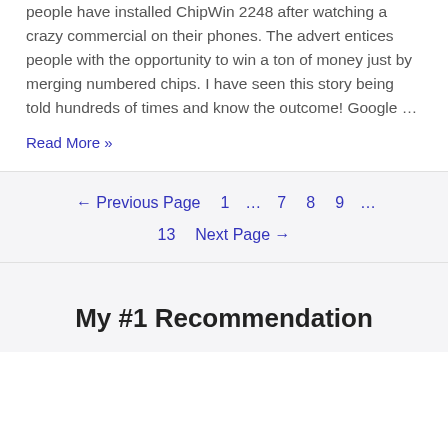people have installed ChipWin 2248 after watching a crazy commercial on their phones. The advert entices people with the opportunity to win a ton of money just by merging numbered chips. I have seen this story being told hundreds of times and know the outcome! Google …
Read More »
← Previous Page   1   …   7   8   9   …   13   Next Page →
My #1 Recommendation